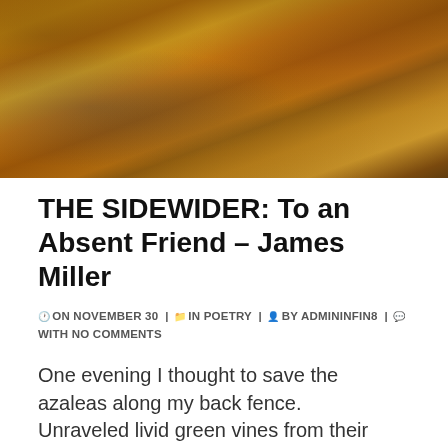[Figure (illustration): Abstract impressionist painting with warm orange, gold, and brown tones suggesting a landscape with atmospheric haze. Possible architectural elements (arch/bridge) visible on left side with dark teal accents.]
THE SIDEWIDER: To an Absent Friend – James Miller
ON NOVEMBER 30 | IN POETRY | BY ADMININFIN8 | WITH NO COMMENTS
One evening I thought to save the azaleas along my back fence.
Unraveled livid green vines from their choked branches.
Next day I found a dime-wide blood-bloom on my left side, ridged
and itching. Soon I could wear no belt, no cloth or